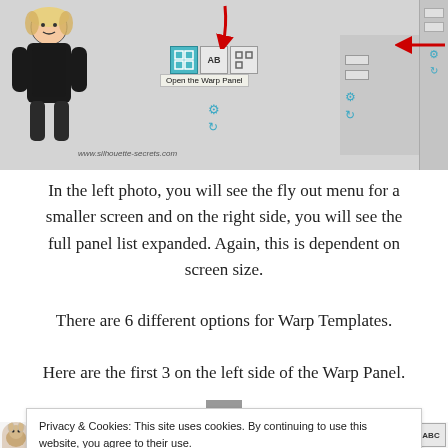[Figure (screenshot): Screenshot of Silhouette software interface showing the Warp Panel toolbar with red arrows pointing to icons, a cartoon female character on the left, and a tooltip saying 'Open the Warp Panel'. Website watermark: www.silhouette-secrets.com]
In the left photo, you will see the fly out menu for a smaller screen and on the right side, you will see the full panel list expanded. Again, this is dependent on screen size.
There are 6 different options for Warp Templates.
Here are the first 3 on the left side of the Warp Panel.
Privacy & Cookies: This site uses cookies. By continuing to use this website, you agree to their use.
To find out more, including how to control cookies, see here: Cookie Policy
Close and accept
HAPPY BIRTHDAY!